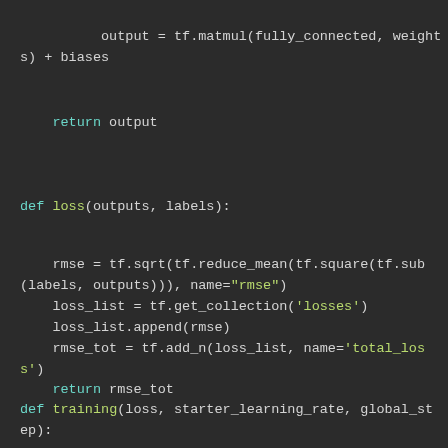[Figure (screenshot): Python source code screenshot with dark background showing three code snippets: end of a function returning output, a loss() function computing RMSE, and start of a training() function.]